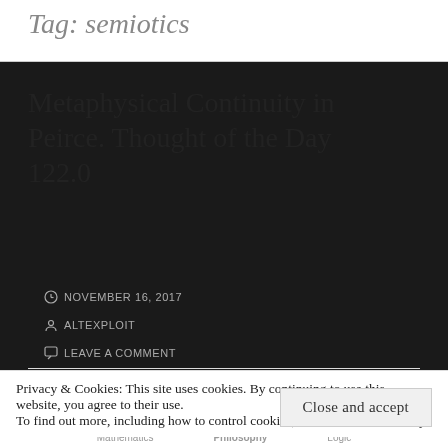Tag: semiotics
Metaphysical Continuity in Peirce. Thought of the Day 122.0
NOVEMBER 16, 2017
ALTEXPLOIT
LEAVE A COMMENT
Privacy & Cookies: This site uses cookies. By continuing to use this website, you agree to their use.
To find out more, including how to control cookies, see here: Cookie Policy
Close and accept
Mathematics   Philosophy   Logic